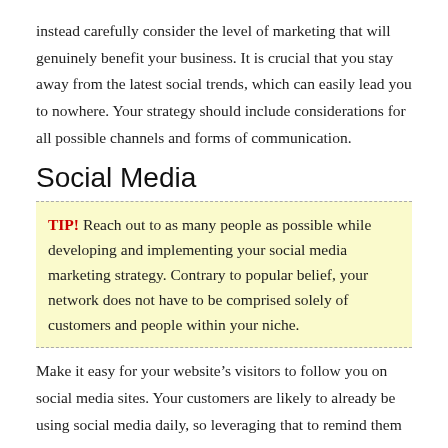instead carefully consider the level of marketing that will genuinely benefit your business. It is crucial that you stay away from the latest social trends, which can easily lead you to nowhere. Your strategy should include considerations for all possible channels and forms of communication.
Social Media
TIP! Reach out to as many people as possible while developing and implementing your social media marketing strategy. Contrary to popular belief, your network does not have to be comprised solely of customers and people within your niche.
Make it easy for your website’s visitors to follow you on social media sites. Your customers are likely to already be using social media daily, so leveraging that to remind them